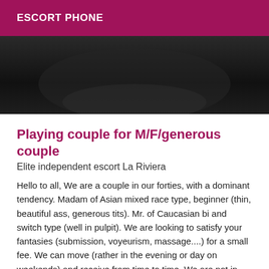ESCORT PHONE
[Figure (photo): Dark photograph, partially visible, showing a dark background]
Playing couple for M/F/generous couple
Elite independent escort La Riviera
Hello to all, We are a couple in our forties, with a dominant tendency. Madam of Asian mixed race type, beginner (thin, beautiful ass, generous tits). Mr. of Caucasian bi and switch type (well in pulpit). We are looking to satisfy your fantasies (submission, voyeurism, massage....) for a small fee. We can move (rather in the evening or day on weekends) and receive from time to time. We are not in the "room" and do not play the clock, and we privilege quality relationships. Don't hesitate to let us know your wishes, by mail at first. We will take the time to study your proposals, and will give you an